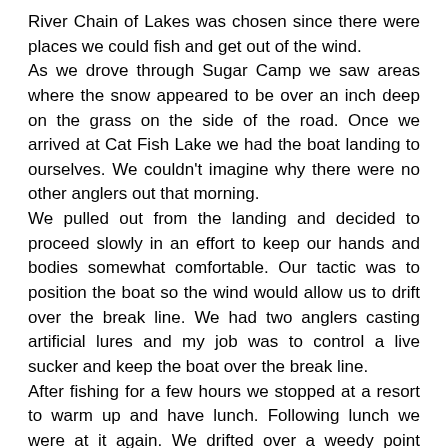River Chain of Lakes was chosen since there were places we could fish and get out of the wind. As we drove through Sugar Camp we saw areas where the snow appeared to be over an inch deep on the grass on the side of the road. Once we arrived at Cat Fish Lake we had the boat landing to ourselves. We couldn't imagine why there were no other anglers out that morning. We pulled out from the landing and decided to proceed slowly in an effort to keep our hands and bodies somewhat comfortable. Our tactic was to position the boat so the wind would allow us to drift over the break line. We had two anglers casting artificial lures and my job was to control a live sucker and keep the boat over the break line. After fishing for a few hours we stopped at a resort to warm up and have lunch. Following lunch we were at it again. We drifted over a weedy point where the wind was hitting it full blast. A musky hit our sucker, Lee grabbed the rod and we boated a 36-inch musky. We took several pictures and released the musky alive to fight another day. An hour later we caught another musky that was several inches longer.